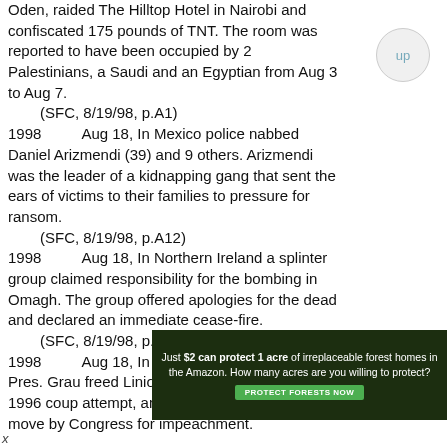Oden, raided The Hilltop Hotel in Nairobi and confiscated 175 pounds of TNT. The room was reported to have been occupied by 2 Palestinians, a Saudi and an Egyptian from Aug 3 to Aug 7.
    (SFC, 8/19/98, p.A1)
1998    Aug 18, In Mexico police nabbed Daniel Arizmendi (39) and 9 others. Arizmendi was the leader of a kidnapping gang that sent the ears of victims to their families to pressure for ransom.
    (SFC, 8/19/98, p.A12)
1998    Aug 18, In Northern Ireland a splinter group claimed responsibility for the bombing in Omagh. The group offered apologies for the dead and declared an immediate cease-fire.
    (SFC, 8/19/98, p.A12)
1998    Aug 18, In Paraguay newly elected Pres. Grau freed Linio Oviedo, the leader of a 1996 coup attempt, and within days faced a move by Congress for impeachment.
[Figure (other): Advertisement banner: dark green forest background with text 'Just $2 can protect 1 acre of irreplaceable forest homes in the Amazon. How many acres are you willing to protect?' and a green 'PROTECT FORESTS NOW' button.]